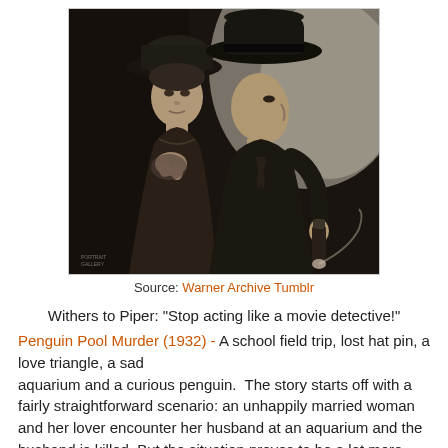[Figure (photo): Black and white vintage movie still showing a woman and man both wearing hats, standing close together. The man holds a flashlight and gazes upward; the woman looks forward with a worried expression. Small text in lower left reads a studio credit.]
Source: Warner Archive Tumblr
Withers to Piper: "Stop acting like a movie detective!"
Penguin Pool Murder (1932) - A school field trip, lost hat pin, a love triangle, a sad aquarium and a curious penguin.  The story starts off with a fairly straightforward scenario: an unhappily married woman and her lover encounter her husband at an aquarium and the husband is killed. But the situation proves to be a lot more complicated than we originally thought. Visiting school